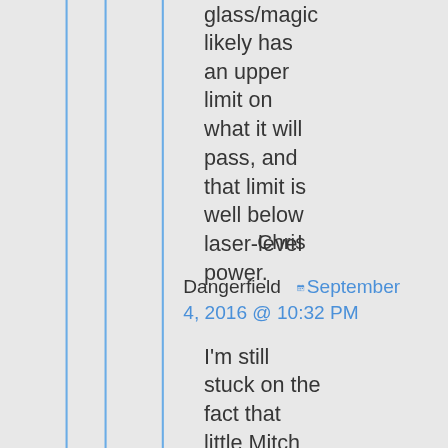glass/magic likely has an upper limit on what it will pass, and that limit is well below laser-level power.
Chris
Dangerfield  September 4, 2016 @ 10:32 PM
I'm still stuck on the fact that little Mitch can make a